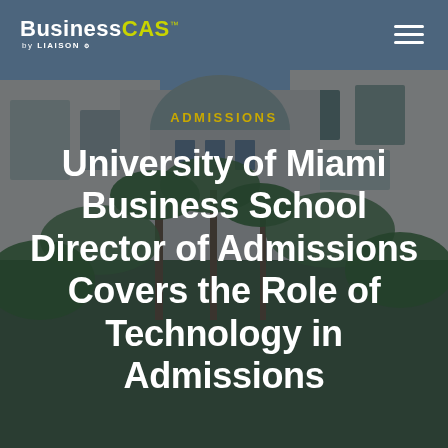[Figure (photo): University of Miami Business School building exterior with palm trees and blue sky, used as a background image with dark overlay]
BusinessCAS by LIAISON [hamburger menu icon]
ADMISSIONS
University of Miami Business School Director of Admissions Covers the Role of Technology in Admissions